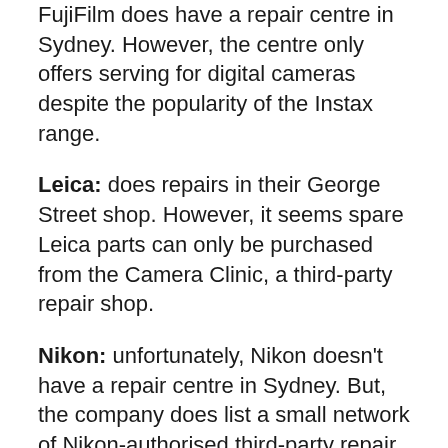FujiFilm does have a repair centre in Sydney. However, the centre only offers serving for digital cameras despite the popularity of the Instax range.
Leica: does repairs in their George Street shop. However, it seems spare Leica parts can only be purchased from the Camera Clinic, a third-party repair shop.
Nikon: unfortunately, Nikon doesn't have a repair centre in Sydney. But, the company does list a small network of Nikon-authorised third-party repair shops.
Olympus: the Olympus imaging brand technically no longer exists. All their imaging products and services are now owned by OM. To our knowledge, OM does currently offer